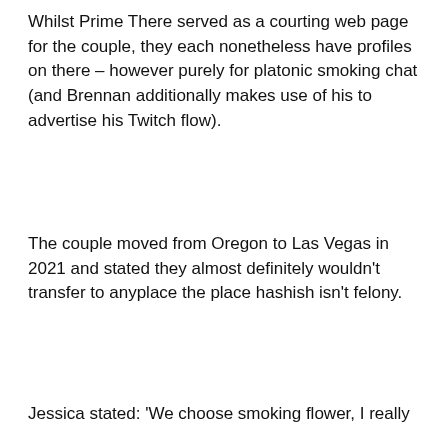Whilst Prime There served as a courting web page for the couple, they each nonetheless have profiles on there – however purely for platonic smoking chat (and Brennan additionally makes use of his to advertise his Twitch flow).
The couple moved from Oregon to Las Vegas in 2021 and stated they almost definitely wouldn't transfer to anyplace the place hashish isn't felony.
Jessica stated: 'We choose smoking flower, I really
We use cookies on our website to give you the most relevant experience by remembering your preferences and repeat visits. By clicking "Accept All", you consent to the use of ALL the cookies. However, you may visit "Cookie Settings" to provide a controlled consent.
Cookie Settings
Accept All